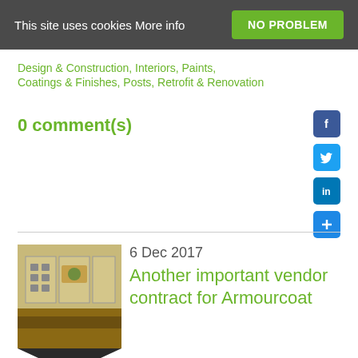This site uses cookies More info
NO PROBLEM
Design & Construction, Interiors, Paints, Coatings & Finishes, Posts, Retrofit & Renovation
0 comment(s)
[Figure (other): Social media share icons: Facebook, Twitter, LinkedIn, and a plus/share button]
6 Dec 2017
Another important vendor contract for Armourcoat
[Figure (photo): Thumbnail photo of hotel interior showing wall panels with Choice Hotels International logo]
Armourcoat have announced another significant vendor contract for Choice Hotels International, Inc. in America, in the form of their modular panel brand ArmourFX.